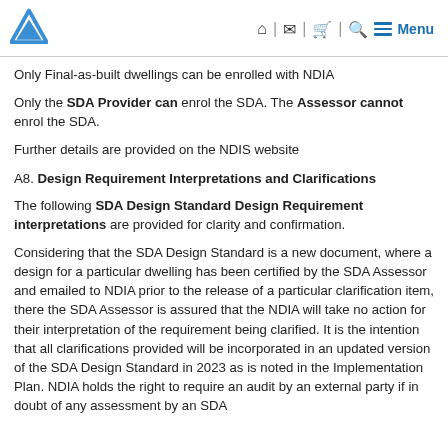Navigation header with logo and menu icons
Only Final-as-built dwellings can be enrolled with NDIA
Only the SDA Provider can enrol the SDA. The Assessor cannot enrol the SDA.
Further details are provided on the NDIS website
A8. Design Requirement Interpretations and Clarifications
The following SDA Design Standard Design Requirement interpretations are provided for clarity and confirmation.
Considering that the SDA Design Standard is a new document, where a design for a particular dwelling has been certified by the SDA Assessor and emailed to NDIA prior to the release of a particular clarification item, there the SDA Assessor is assured that the NDIA will take no action for their interpretation of the requirement being clarified. It is the intention that all clarifications provided will be incorporated in an updated version of the SDA Design Standard in 2023 as is noted in the Implementation Plan. NDIA holds the right to require an audit by an external party if in doubt of any assessment by an SDA